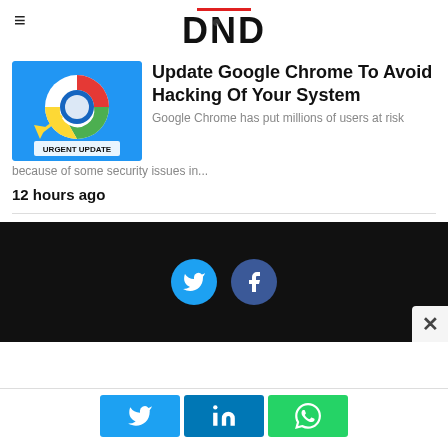DND
Update Google Chrome To Avoid Hacking Of Your System
[Figure (screenshot): Chrome browser app icon with 'URGENT UPDATE' label on blue background]
Google Chrome has put millions of users at risk because of some security issues in...
12 hours ago
[Figure (infographic): Dark black section with Twitter and Facebook circular social share icons and a close (X) button]
[Figure (infographic): Bottom share bar with Twitter, LinkedIn, and WhatsApp buttons]